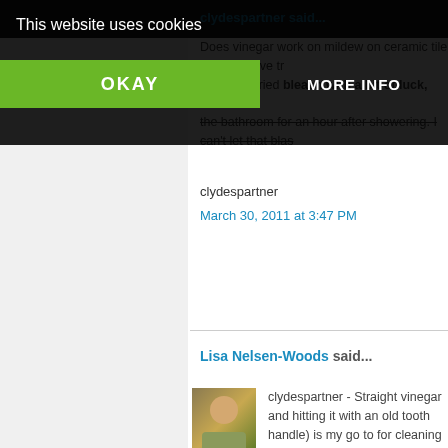This website uses cookies
OKAY
MORE INFO
clydespartner said... Does vinegar work on mildew on ceramic tile grout? I have tried bleach with a bit of luck, but not much success. I've tried bleach with a bit of luck, but not. the bathroom for an hour after showering. I can't let that blast clydespartner
March 30, 2011 at 3:47 PM
Lisa Nelsen-Woods said...
clydespartner - Straight vinegar and hitting it with an old tooth (handle) is my go to for cleaning grout. When I use a daily sho the grout though. I just spray the wall down with cleaner (usu rag/sponge.
March 30, 2011 at 3:50 PM
[Figure (infographic): Social share buttons: Twitter (blue), Facebook (dark blue), Email (gray), WhatsApp (green), SMS (blue), More (green)]